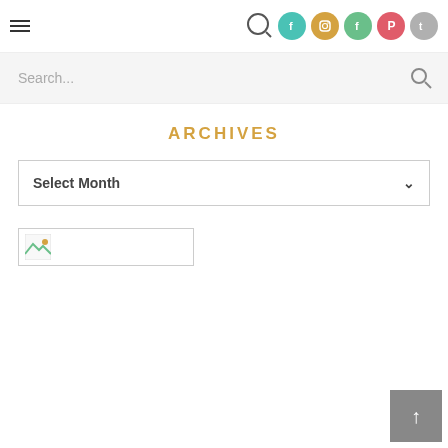☰ [social icons: search, facebook, instagram, facebook, pinterest, twitter]
Search...
ARCHIVES
Select Month
[Figure (other): Broken image placeholder icon with green corner indicator]
↑ scroll to top button